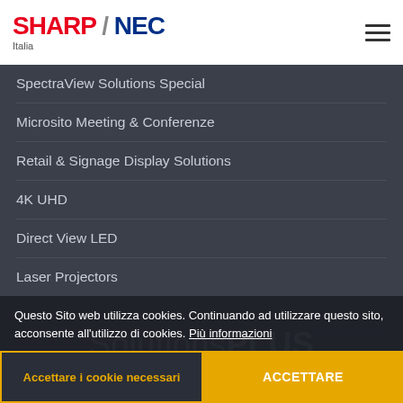SHARP / NEC Italia
SpectraView Solutions Special
Microsito Meeting & Conferenze
Retail & Signage Display Solutions
4K UHD
Direct View LED
Laser Projectors
Green Vision
SolutionsPLUS
Questo Sito web utilizza cookies. Continuando ad utilizzare questo sito, acconsente all'utilizzo di cookies. Più informazioni
Accettare i cookie necessari
ACCETTARE